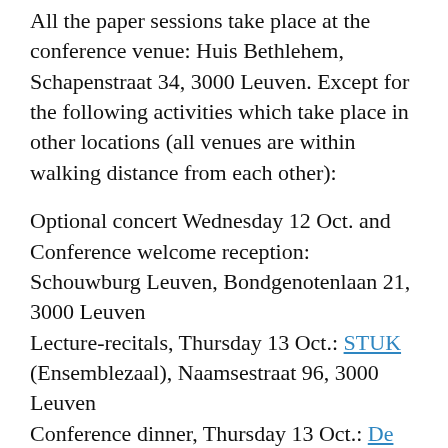All the paper sessions take place at the conference venue: Huis Bethlehem, Schapenstraat 34, 3000 Leuven. Except for the following activities which take place in other locations (all venues are within walking distance from each other):
Optional concert Wednesday 12 Oct. and Conference welcome reception: Schouwburg Leuven, Bondgenotenlaan 21, 3000 Leuven Lecture-recitals, Thursday 13 Oct.: STUK (Ensemblezaal), Naamsestraat 96, 3000 Leuven Conference dinner, Thursday 13 Oct.: De Adellijke Belofte, Naamsestraat 60, 3000 Leuven Conference concert, Friday 14 Oct.: STUK